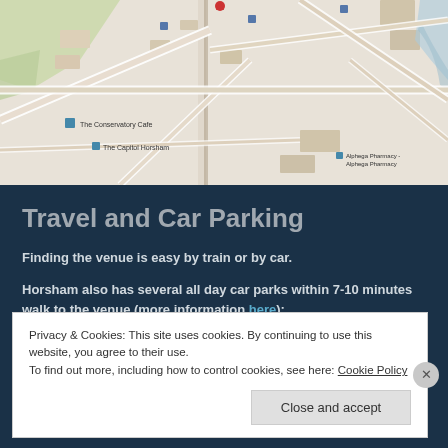[Figure (map): Street map of Horsham area showing roads, The Conservatory Cafe, The Capitol Horsham, and Alphega Pharmacy landmarks]
Travel and Car Parking
Finding the venue is easy by train or by car.
Horsham also has several all day car parks within 7-10 minutes walk to the venue (more information here):
Privacy & Cookies: This site uses cookies. By continuing to use this website, you agree to their use.
To find out more, including how to control cookies, see here: Cookie Policy
Close and accept